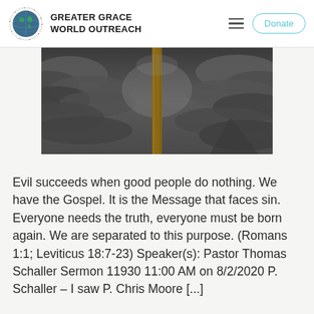GREATER GRACE WORLD OUTREACH
[Figure (photo): A dramatic photo of a tall wooden cross or post rising against a stormy, dark cloudy sky.]
Evil succeeds when good people do nothing. We have the Gospel. It is the Message that faces sin. Everyone needs the truth, everyone must be born again. We are separated to this purpose. (Romans 1:1; Leviticus 18:7-23) Speaker(s): Pastor Thomas Schaller Sermon 11930 11:00 AM on 8/2/2020 P. Schaller – I saw P. Chris Moore [...]